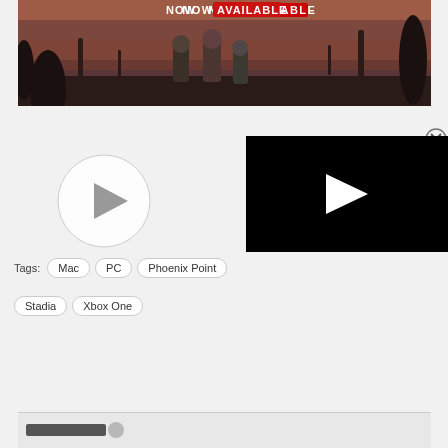[Figure (screenshot): Game promotional banner for Phoenix Point showing three armored soldiers facing away toward a reddish alien landscape with creatures in the background. Text 'NOW AVAILABLE' shown at top.]
[Figure (screenshot): Circular play button button overlay on gray background, semi-transparent white circle with play triangle icon in center]
[Figure (screenshot): Video player overlay showing black rectangle with white play button triangle in center, with X close button in upper right corner]
Tags: Mac  PC  Phoenix Point  Stadia  Xbox One